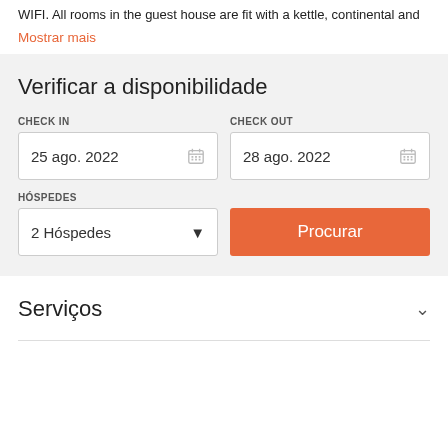WIFI. All rooms in the guest house are fit with a kettle, continental and
Mostrar mais
Verificar a disponibilidade
CHECK IN
25 ago. 2022
CHECK OUT
28 ago. 2022
HÓSPEDES
2 Hóspedes
Procurar
Serviços